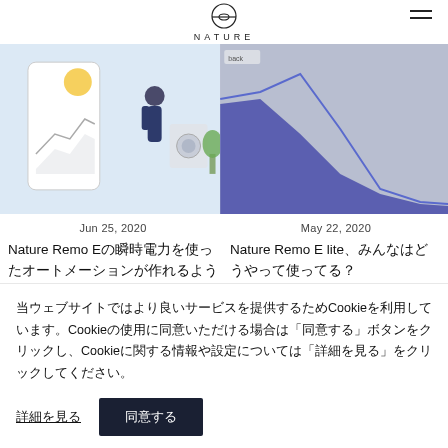NATURE
[Figure (illustration): Illustration of a person using a smart home app with a washing machine, shown on a smartphone screen against a light blue background]
[Figure (illustration): Area chart showing energy usage data with blue shaded area and a line graph over a gray-blue background]
Jun 25, 2020
Nature Remo Eの瞬時電力を使ったオートメーションが作れるようになりま…
May 22, 2020
Nature Remo E lite、みんなはどうやって使ってる？
当ウェブサイトではより良いサービスを提供するためCookieを利用しています。Cookieの使用に同意いただける場合は「同意する」ボタンをクリックし、Cookieに関する情報や設定については「詳細を見る」をクリックしてください。
詳細を見る
同意する